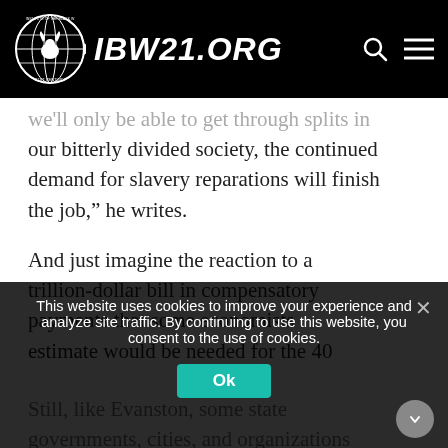IBW21.ORG
we'll only be able to get through splits in our bitterly divided society, the continued demand for slavery reparations will finish the job,” he writes.
And just imagine the reaction to a trillion-dollar bill in compensatory payments that some economists estimate would be needed for the 40
Still, like Evanston, some state governments, cities, and organizations
This website uses cookies to improve your experience and analyze site traffic. By continuing to use this website, you consent to the use of cookies.